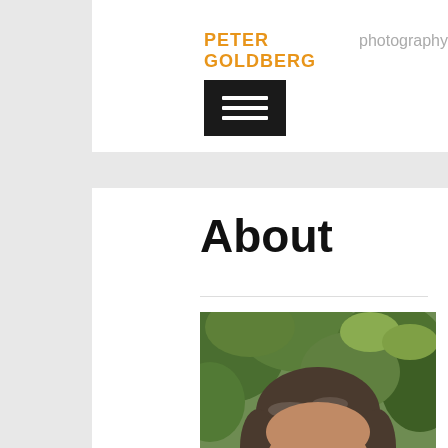PETER GOLDBERG photography
[Figure (other): Hamburger menu icon — three horizontal white lines on a black rectangle background]
About
[Figure (photo): Portrait of a middle-aged man with dark salt-and-pepper hair and a beard, smiling, wearing a light blue shirt, with green foliage trees in the background]